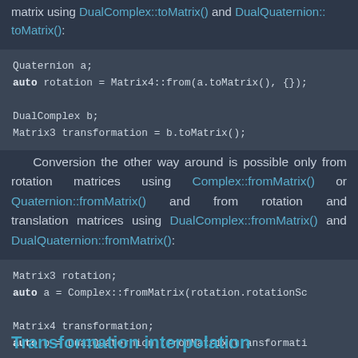matrix using DualComplex::toMatrix() and DualQuaternion::toMatrix():
[Figure (screenshot): Code block showing: Quaternion a;
auto rotation = Matrix4::from(a.toMatrix(), {});\n\nDualComplex b;\nMatrix3 transformation = b.toMatrix();]
Conversion the other way around is possible only from rotation matrices using Complex::fromMatrix() or Quaternion::fromMatrix() and from rotation and translation matrices using DualComplex::fromMatrix() and DualQuaternion::fromMatrix():
[Figure (screenshot): Code block showing: Matrix3 rotation;
auto a = Complex::fromMatrix(rotation.rotationSc...

Matrix4 transformation;
auto b = DualQuaternion::fromMatrix(transformati...]
Transformation interpolation